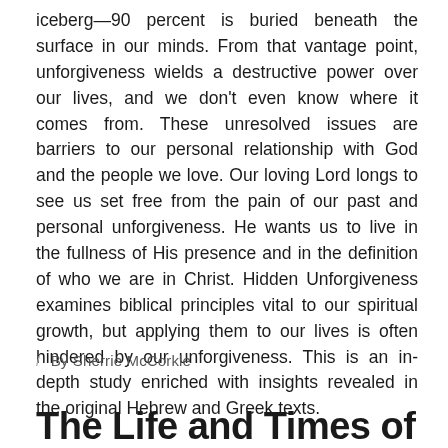iceberg—90 percent is buried beneath the surface in our minds. From that vantage point, unforgiveness wields a destructive power over our lives, and we don't even know where it comes from. These unresolved issues are barriers to our personal relationship with God and the people we love. Our loving Lord longs to see us set free from the pain of our past and personal unforgiveness. He wants us to live in the fullness of His presence and in the definition of who we are in Christ. Hidden Unforgiveness examines biblical principles vital to our spiritual growth, but applying them to our lives is often hindered by our unforgiveness. This is an in-depth study enriched with insights revealed in the original Hebrew and Greek texts.
/ By Sherrie McCorkle
The Life and Times of...